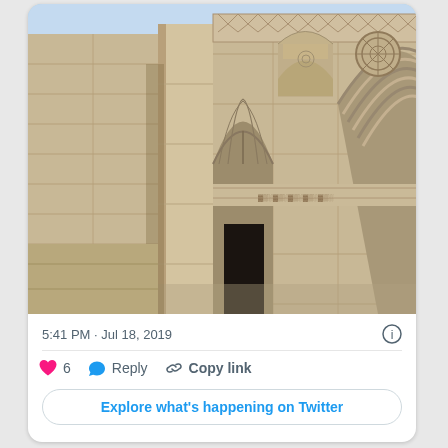[Figure (photo): Photograph of an ornate Islamic stone building facade with decorated arches, intricate stone carvings, and large Mamluk-style muqarnas arch entrances, taken on a clear sunny day.]
5:41 PM · Jul 18, 2019
❤ 6   Reply   Copy link
Explore what's happening on Twitter